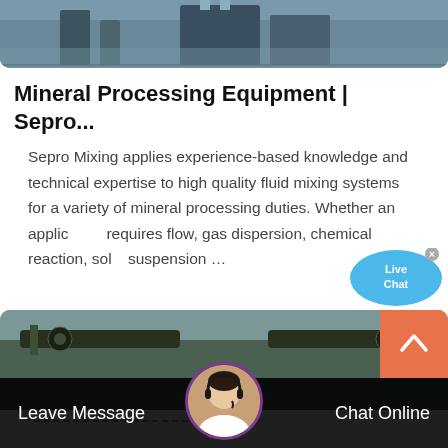[Figure (photo): Top partial photo of an industrial/mineral processing facility building with steel structures]
Mineral Processing Equipment | Sepro...
Sepro Mixing applies experience-based knowledge and technical expertise to high quality fluid mixing systems for a variety of mineral processing duties. Whether an application requires flow, gas dispersion, chemical reaction, solid suspension …
[Figure (illustration): Live Chat speech bubble overlay with text 'Live Chat' and close X button]
Read More
[Figure (photo): Bottom partial photo showing mineral processing equipment machinery in a mountainous landscape]
[Figure (illustration): Customer service agent avatar with headset]
Leave Message
Chat Online